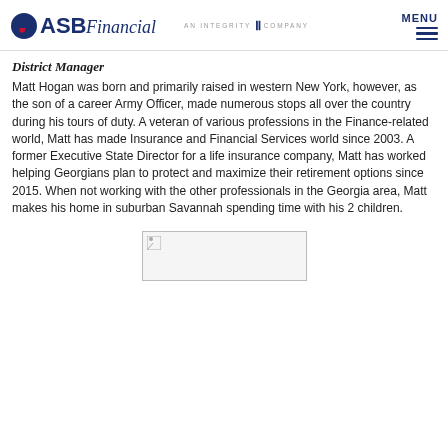ASB Financial - AN INTEGRITY COMPANY | MENU
District Manager
Matt Hogan was born and primarily raised in western New York, however, as the son of a career Army Officer, made numerous stops all over the country during his tours of duty. A veteran of various professions in the Finance-related world, Matt has made Insurance and Financial Services world since 2003. A former Executive State Director for a life insurance company, Matt has worked helping Georgians plan to protect and maximize their retirement options since 2015. When not working with the other professionals in the Georgia area, Matt makes his home in suburban Savannah spending time with his 2 children.
[Figure (photo): Broken/placeholder image at bottom of page]